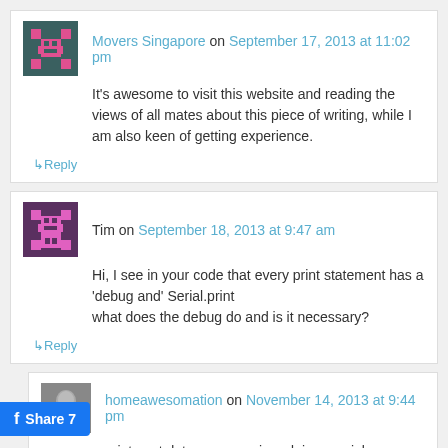Movers Singapore on September 17, 2013 at 11:02 pm
It's awesome to visit this website and reading the views of all mates about this piece of writing, while I am also keen of getting experience.
↳ Reply
Tim on September 18, 2013 at 9:47 am
Hi, I see in your code that every print statement has a 'debug and' Serial.print what does the debug do and is it necessary?
↳ Reply
homeawesomation on November 14, 2013 at 9:44 pm
prints out data onscreen in arduinos serial interface. It's not necessary at all and only runs when debug=true